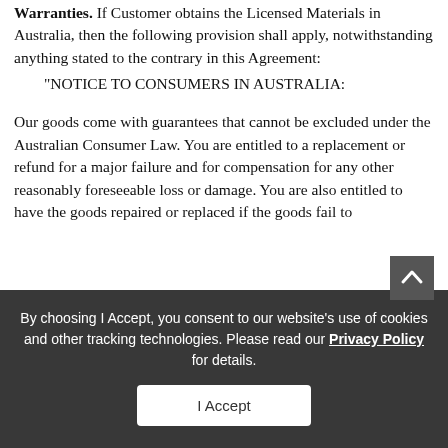Warranties. If Customer obtains the Licensed Materials in Australia, then the following provision shall apply, notwithstanding anything stated to the contrary in this Agreement:
"NOTICE TO CONSUMERS IN AUSTRALIA:
Our goods come with guarantees that cannot be excluded under the Australian Consumer Law. You are entitled to a replacement or refund for a major failure and for compensation for any other reasonably foreseeable loss or damage. You are also entitled to have the goods repaired or replaced if the goods fail to
By choosing I Accept, you consent to our website's use of cookies and other tracking technologies. Please read our Privacy Policy for details.
I Accept